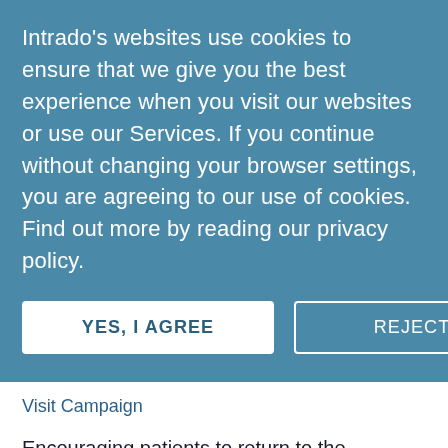Intrado's websites use cookies to ensure that we give you the best experience when you visit our websites or use our Services. If you continue without changing your browser settings, you are agreeing to our use of cookies. Find out more by reading our privacy policy.
YES, I AGREE
REJECT
Visit Campaign
Encouraging patients to return to the healthcare system for vaccinations, annual exams, and routine visits should be a part of every medical facility's outreach strategy. Current research indicates that patients are open, familiar and eager to engage with their healthcare systems and providers using digital technologies including SMS